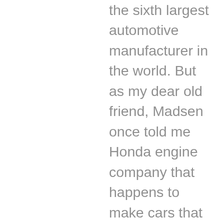the sixth largest automotive manufacturer in the world. But as my dear old friend, Madsen once told me Honda engine company that happens to make cars that might well be true as not a company on earth makes more engines than Honda beyond motorcycles and automobiles Honda has evolved into a number of markets, ATVs, power tools, robots, and even aircraft. The Honda jet completed his maiden flight in 2003. It's a light business jet produced by the aircraft company based in Greensboro, North Carolina, by March of this